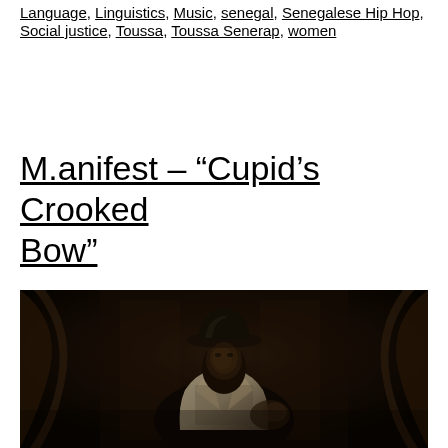Language, Linguistics, Music, senegal, Senegalese Hip Hop, Social justice, Toussa, Toussa Senerap, women
M.anifest – “Cupid’s Crooked Bow”
[Figure (photo): Dark, moody photograph of a person wearing a wide-brimmed hat and a white vest or suit, photographed in low light with a dark background]